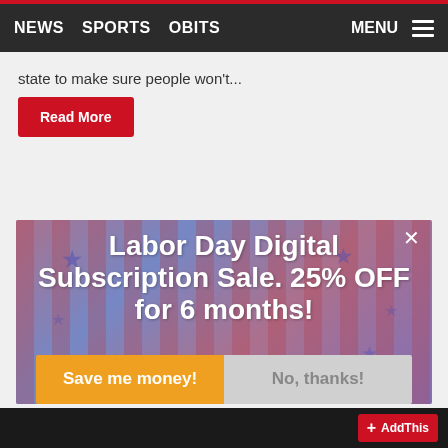NEWS  SPORTS  OBITS  MENU
state to make sure people won't...
Read More
[Figure (screenshot): Labor Day Digital Subscription Sale popup modal with patriotic stars and stripes background. Large white bold text reads: Labor Day Digital Subscription Sale. 25% OFF for 6 months! Two buttons below: orange 'Save me money!' and gray 'No, thanks!']
AddThis